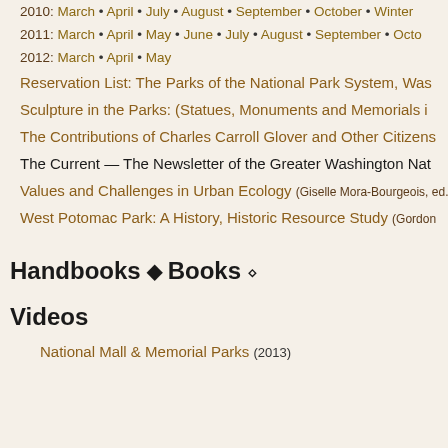2010: March • April • July • August • September • October • Winter
2011: March • April • May • June • July • August • September • Octo
2012: March • April • May
Reservation List: The Parks of the National Park System, Was
Sculpture in the Parks: (Statues, Monuments and Memorials in
The Contributions of Charles Carroll Glover and Other Citizens
The Current — The Newsletter of the Greater Washington Nat
Values and Challenges in Urban Ecology (Giselle Mora-Bourgeois, ed.
West Potomac Park: A History, Historic Resource Study (Gordon
Handbooks ◆ Books ⬥
Videos
National Mall & Memorial Parks (2013)